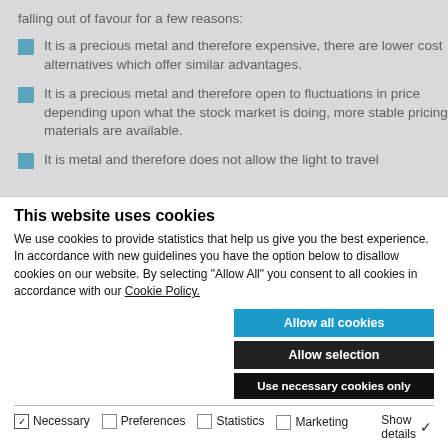falling out of favour for a few reasons:
It is a precious metal and therefore expensive, there are lower cost alternatives which offer similar advantages.
It is a precious metal and therefore open to fluctuations in price depending upon what the stock market is doing, more stable pricing materials are available.
It is metal and therefore does not allow the light to travel
This website uses cookies
We use cookies to provide statistics that help us give you the best experience. In accordance with new guidelines you have the option below to disallow cookies on our website. By selecting "Allow All" you consent to all cookies in accordance with our Cookie Policy.
Allow all cookies
Allow selection
Use necessary cookies only
Necessary  Preferences  Statistics  Marketing  Show details